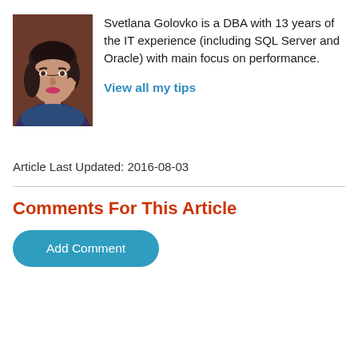[Figure (photo): Author photo of Svetlana Golovko, a woman with dark hair wearing a dark top]
Svetlana Golovko is a DBA with 13 years of the IT experience (including SQL Server and Oracle) with main focus on performance.
View all my tips
Article Last Updated: 2016-08-03
Comments For This Article
Add Comment